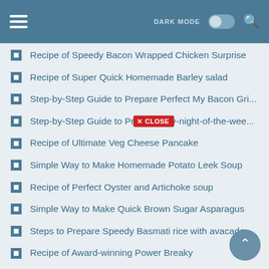DARK MODE [toggle] [search]
Recipe of Speedy Bacon Wrapped Chicken Surprise
Recipe of Super Quick Homemade Barley salad
Step-by-Step Guide to Prepare Perfect My Bacon Gri...
Step-by-Step Guide to Prepare Any-night-of-the-wee... [CLOSE button]
Recipe of Ultimate Veg Cheese Pancake
Simple Way to Make Homemade Potato Leek Soup
Recipe of Perfect Oyster and Artichoke soup
Simple Way to Make Quick Brown Sugar Asparagus
Steps to Prepare Speedy Basmati rice with avacado ...
Recipe of Award-winning Power Breaky
How to Make Speedy Chicken things Cassarole
Step-by-Step Guide to Prepare Any-night-of-the-we...
Easiest Way to Prepare Any-night-of-the-week Bacon...